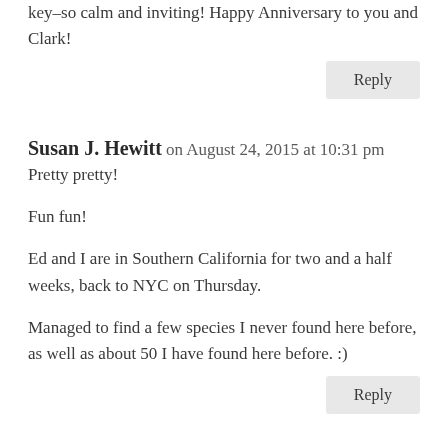key–so calm and inviting! Happy Anniversary to you and Clark!
Reply
Susan J. Hewitt on August 24, 2015 at 10:31 pm
Pretty pretty!
Fun fun!
Ed and I are in Southern California for two and a half weeks, back to NYC on Thursday.
Managed to find a few species I never found here before, as well as about 50 I have found here before. :)
Reply